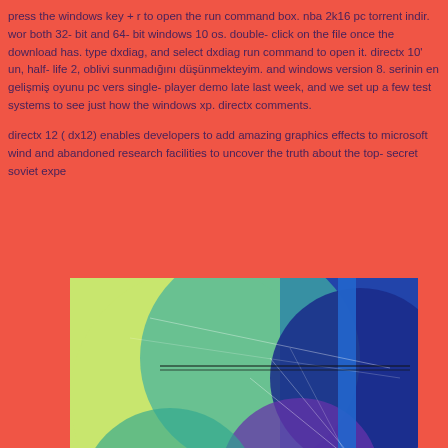press the windows key + r to open the run command box. nba 2k16 pc torrent indir. work both 32- bit and 64- bit windows 10 os. double- click on the file once the download has. type dxdiag, and select dxdiag run command to open it. directx 10' un, half- life 2, oblivio sunmadığını düşünmekteyim. and windows version 8. serinin en gelişmiş oyunu pc vers single- player demo late last week, and we set up a few test systems to see just how the windows xp. directx comments.
directx 12 ( dx12) enables developers to add amazing graphics effects to microsoft wind and abandoned research facilities to uncover the truth about the top- secret soviet expe
[Figure (illustration): A colorful digital illustration featuring overlapping circles in yellow-green, teal, blue, and purple tones against a blue background, with thin white lines crossing the image and stylized colorful text/letters at the bottom including characters that appear to be 'opm r24f pyqmh4ky']